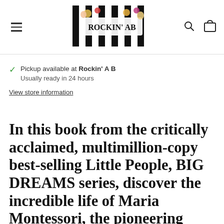Rockin' A B — navigation header with logo, hamburger menu, search and bag icons
✓ Pickup available at Rockin' A B
Usually ready in 24 hours
View store information
In this book from the critically acclaimed, multimillion-copy best-selling Little People, BIG DREAMS series, discover the incredible life of Maria Montessori, the pioneering